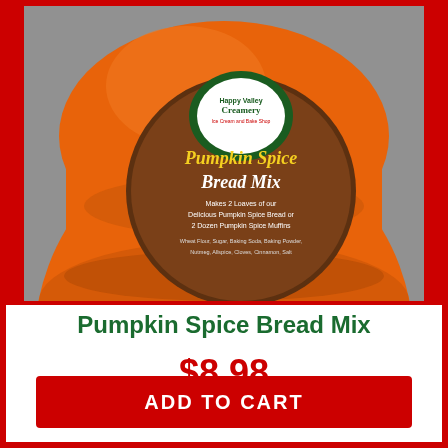[Figure (photo): Orange-colored Pumpkin Spice Bread Mix container/bag with a round brown label showing the Happy Valley Creamery Ice Cream and Bake Shop logo and product name 'Pumpkin Spice Bread Mix' on a gray metal surface.]
Pumpkin Spice Bread Mix
$8.98
ADD TO CART